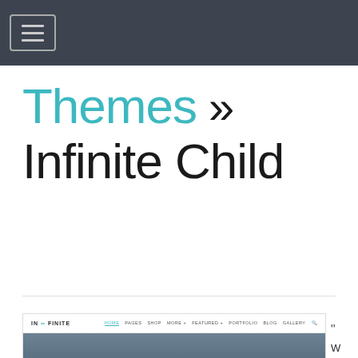Navigation bar with hamburger menu icon
Themes » Infinite Child
[Figure (screenshot): Screenshot of the Infinite Child WordPress theme showing a navigation bar with 'IN ∞ FINITE' logo and menu items (HOME, PAGES, SHOP, MORE, FEATURED, PORTFOLIO, BLOG, GALLERY), below which is a hero section with mountain landscape background and bold white text reading 'Welcome to Infinite' with subtitle 'The most advanced & only live theme in the market']